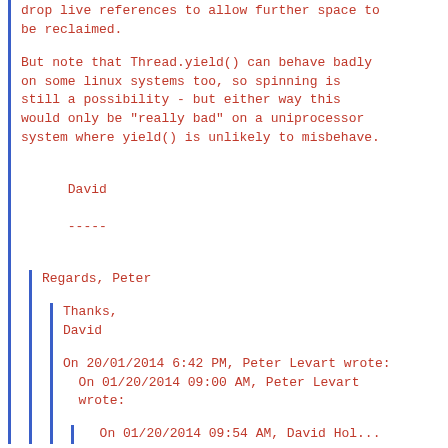drop live references to allow further space to be reclaimed.
But note that Thread.yield() can behave badly on some linux systems too, so spinning is still a possibility - but either way this would only be "really bad" on a uniprocessor system where yield() is unlikely to misbehave.
David
-----
Regards, Peter
Thanks,
David
On 20/01/2014 6:42 PM, Peter Levart wrote:
  On 01/20/2014 09:00 AM, Peter Levart
  wrote:
On 01/20/2014 09:54 AM, David Hol...